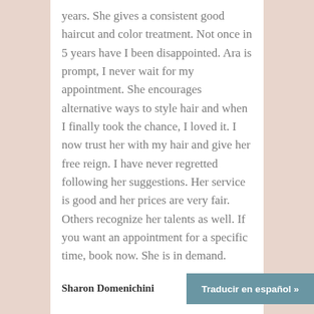years. She gives a consistent good haircut and color treatment. Not once in 5 years have I been disappointed. Ara is prompt, I never wait for my appointment. She encourages alternative ways to style hair and when I finally took the chance, I loved it. I now trust her with my hair and give her free reign. I have never regretted following her suggestions. Her service is good and her prices are very fair. Others recognize her talents as well. If you want an appointment for a specific time, book now. She is in demand.
Sharon Domenichini
Traducir en español »